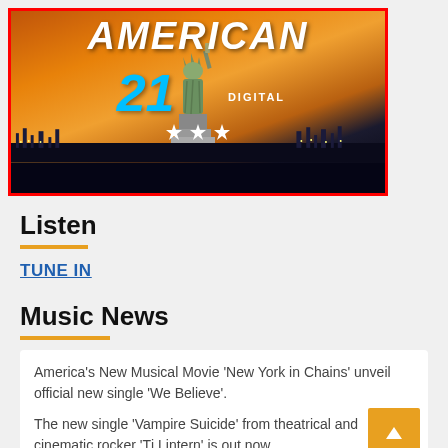[Figure (photo): American 21 Digital promotional image with Statue of Liberty against orange sunset sky, surrounded by red border, with three white stars]
Listen
TUNE IN
Music News
America's New Musical Movie 'New York in Chains' unveil official new single 'We Believe'.
The new single 'Vampire Suicide' from theatrical and cinematic rocker 'Tj Lintern' is out now.